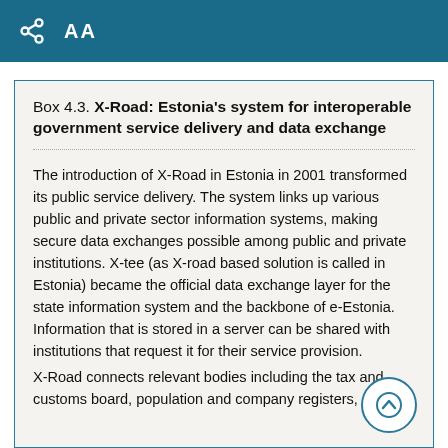AA
Box 4.3. X-Road: Estonia's system for interoperable government service delivery and data exchange
The introduction of X-Road in Estonia in 2001 transformed its public service delivery. The system links up various public and private sector information systems, making secure data exchanges possible among public and private institutions. X-tee (as X-road based solution is called in Estonia) became the official data exchange layer for the state information system and the backbone of e-Estonia. Information that is stored in a server can be shared with institutions that request it for their service provision.
X-Road connects relevant bodies including the tax and customs board, population and company registers,